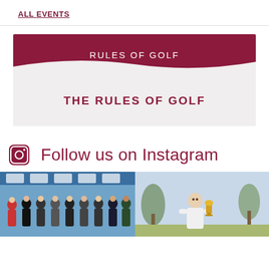ALL EVENTS
[Figure (infographic): Rules of Golf card with dark red/maroon background top section showing 'RULES OF GOLF' text, and a light grey bottom section showing 'THE RULES OF GOLF' in dark red bold text. The two sections are separated by a wave shape.]
Follow us on Instagram
[Figure (photo): Group photo of multiple young men standing together, appears to be at a golf event with banners in background.]
[Figure (photo): Single young man in white shirt holding a trophy, outdoor setting with palm trees.]